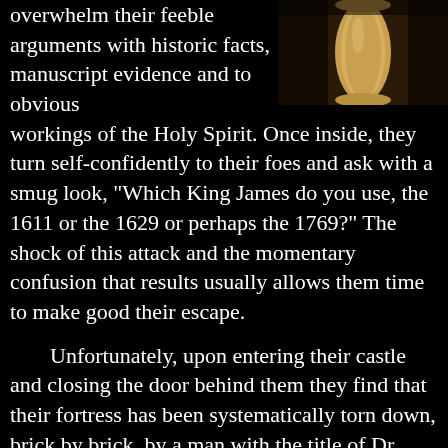[Figure (photo): A close-up photograph of what appears to be an ancient scroll or rolled manuscript, shown against a dark background.]
overwhelm their feeble arguments with historic facts, manuscript evidence and to obvious workings of the Holy Spirit. Once inside, they turn self-confidently to their foes and ask with a smug look, "Which King James do you use, the 1611 or the 1629 or perhaps the 1769?" The shock of this attack and the momentary confusion that results usually allows them time to make good their escape.
Unfortunately, upon entering their castle and closing the door behind them they find that their fortress has been systematically torn down, brick by brick, by a man with the title of Dr. David F. Reagan.
Dr. Reagan pastors the Trinity Baptist Temple in Knoxville, Tennessee. He has written a devastating exposé on the early editions of the King James Bible entitled "The King James Version of 1611. The Myth of Early Revisions."
Dr. Reagan has done an excellent job of destroying the last stronghold of Bible critics. I see neither a way, nor a reason to try to improve on his finding. So I have